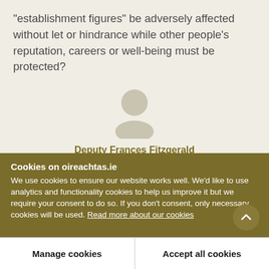"establishment figures" be adversely affected without let or hindrance while other people's reputation, careers or well-being must be protected?
[Figure (illustration): Generic user/person avatar icon — a circle for the head and an ellipse/arc for the shoulders, in a muted beige-grey tone]
Deputy Frances Fitzgerald
Cookies on oireachtas.ie
We use cookies to ensure our website works well. We'd like to use analytics and functionality cookies to help us improve it but we require your consent to do so. If you don't consent, only necessary cookies will be used. Read more about our cookies
Manage cookies
Accept all cookies